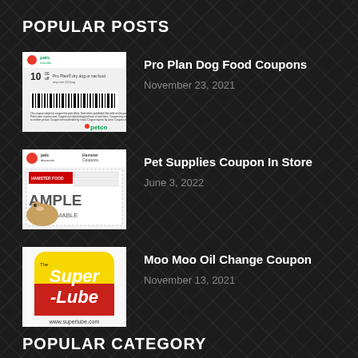POPULAR POSTS
[Figure (photo): Petco Pals Rewards coupon for Pro Plan dry dog or cat food, $10 off, with barcode]
Pro Plan Dog Food Coupons
November 23, 2021
[Figure (photo): Pet supplies coupon showing hamster coupons sample, not redeemable]
Pet Supplies Coupon In Store
June 3, 2022
[Figure (logo): Super Lube logo with www.superlube.com]
Moo Moo Oil Change Coupon
November 13, 2021
POPULAR CATEGORY